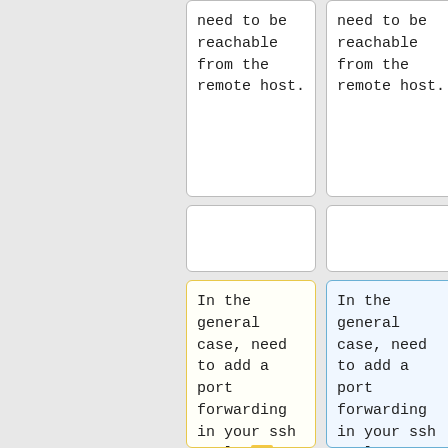need to be reachable from the remote host.
need to be reachable from the remote host.
In the general case, need to add a port forwarding in your ssh tool. In Windows, you can use the tool [[w:PuTTY|PuTTY]] by add in ''Connection SSH
In the general case, need to add a port forwarding in your ssh tool. Windows 10 has OpenSSH included and the <code>ssh</code> command can be used. On